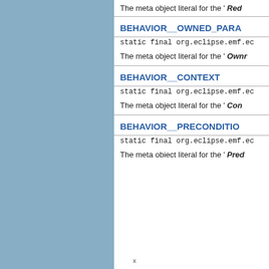The meta object literal for the ' Red
BEHAVIOR__OWNED_PARA
static final org.eclipse.emf.ec
The meta object literal for the ' Ownr
BEHAVIOR__CONTEXT
static final org.eclipse.emf.ec
The meta object literal for the ' Con
BEHAVIOR__PRECONDITIO
static final org.eclipse.emf.ec
The meta obiect literal for the ' Pred
x